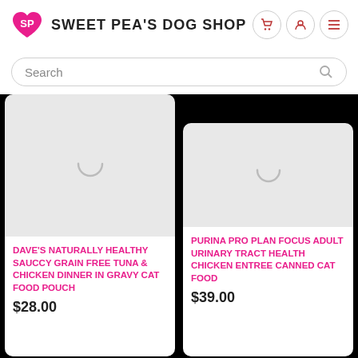[Figure (logo): Sweet Pea's Dog Shop logo with heart icon and store name]
Search
[Figure (photo): Product image loading spinner for Dave's Naturally Healthy Sauccy Grain Free Tuna & Chicken Dinner in Gravy Cat Food Pouch]
DAVE'S NATURALLY HEALTHY SAUCCY GRAIN FREE TUNA & CHICKEN DINNER IN GRAVY CAT FOOD POUCH
$28.00
[Figure (photo): Product image loading spinner for Purina Pro Plan Focus Adult Urinary Tract Health Chicken Entree Canned Cat Food]
PURINA PRO PLAN FOCUS ADULT URINARY TRACT HEALTH CHICKEN ENTREE CANNED CAT FOOD
$39.00